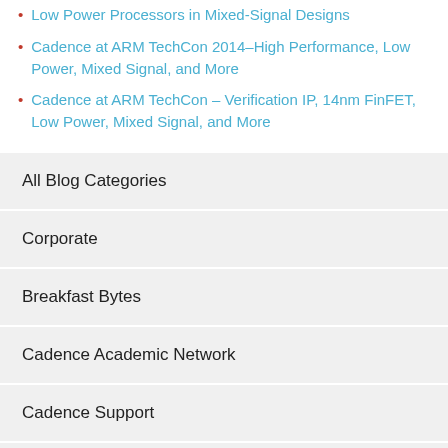Low Power Processors in Mixed-Signal Designs
Cadence at ARM TechCon 2014–High Performance, Low Power, Mixed Signal, and More
Cadence at ARM TechCon – Verification IP, 14nm FinFET, Low Power, Mixed Signal, and More
All Blog Categories
Corporate
Breakfast Bytes
Cadence Academic Network
Cadence Support
Computational Fluid Dynamics